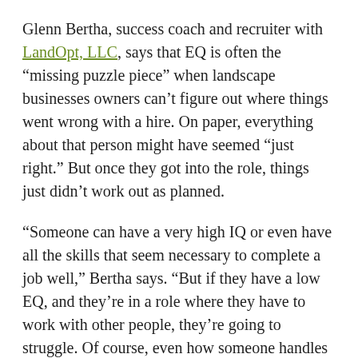Glenn Bertha, success coach and recruiter with LandOpt, LLC, says that EQ is often the “missing puzzle piece” when landscape businesses owners can’t figure out where things went wrong with a hire. On paper, everything about that person might have seemed “just right.” But once they got into the role, things just didn’t work out as planned.
“Someone can have a very high IQ or even have all the skills that seem necessary to complete a job well,” Bertha says. “But if they have a low EQ, and they’re in a role where they have to work with other people, they’re going to struggle. Of course, even how someone handles stress or challenging situations internally can be a problem if they have a low EQ. These aren’t things that necessarily come to light until someone is already hired.”